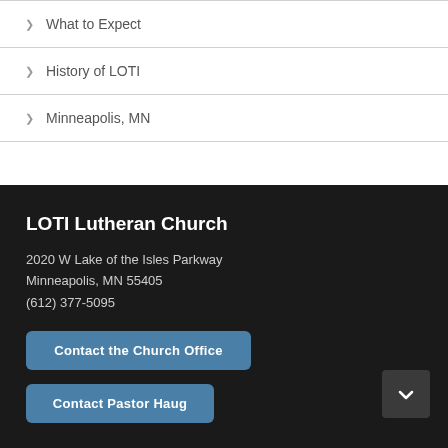What to Expect
History of LOTI
Minneapolis, MN
LOTI Lutheran Church
2020 W Lake of the Isles Parkway
Minneapolis, MN 55405
(612) 377-5095
Contact the Church Office
Contact Pastor Haug